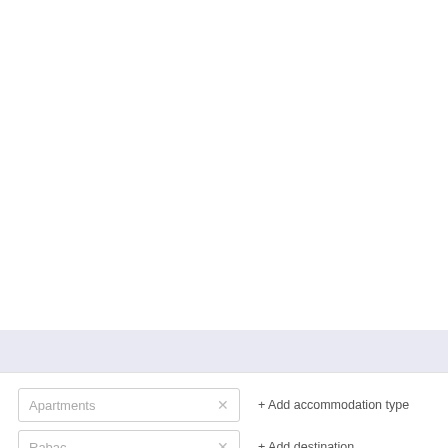Apartments ×
+ Add accommodation type
Rabac ×
+ Add destination